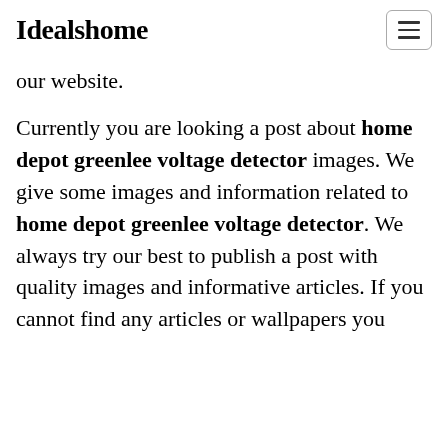Idealshome
our website.
Currently you are looking a post about home depot greenlee voltage detector images. We give some images and information related to home depot greenlee voltage detector. We always try our best to publish a post with quality images and informative articles. If you cannot find any articles or wallpapers you